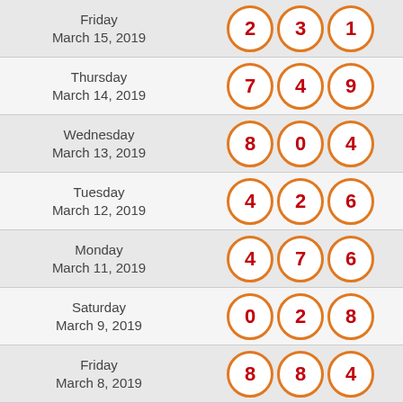| Date | Numbers |
| --- | --- |
| Friday March 15, 2019 | 2 3 1 |
| Thursday March 14, 2019 | 7 4 9 |
| Wednesday March 13, 2019 | 8 0 4 |
| Tuesday March 12, 2019 | 4 2 6 |
| Monday March 11, 2019 | 4 7 6 |
| Saturday March 9, 2019 | 0 2 8 |
| Friday March 8, 2019 | 8 8 4 |